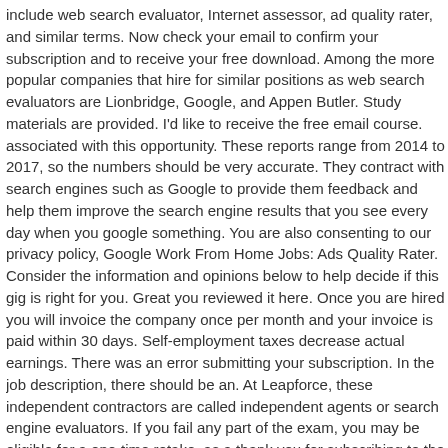include web search evaluator, Internet assessor, ad quality rater, and similar terms. Now check your email to confirm your subscription and to receive your free download. Among the more popular companies that hire for similar positions as web search evaluators are Lionbridge, Google, and Appen Butler. Study materials are provided. I'd like to receive the free email course. associated with this opportunity. These reports range from 2014 to 2017, so the numbers should be very accurate. They contract with search engines such as Google to provide them feedback and help them improve the search engine results that you see every day when you google something. You are also consenting to our privacy policy, Google Work From Home Jobs: Ads Quality Rater. Consider the information and opinions below to help decide if this gig is right for you. Great you reviewed it here. Once you are hired you will invoice the company once per month and your invoice is paid within 30 days. Self-employment taxes decrease actual earnings. There was an error submitting your subscription. In the job description, there should be an. At Leapforce, these independent contractors are called independent agents or search engine evaluators. If you fail any part of the exam, you may be eligible for a one-time retake. as a thank you for subscribing to the